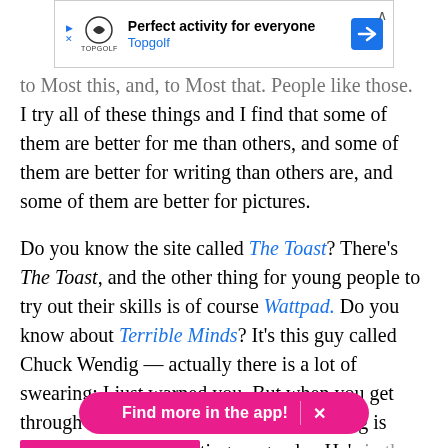[Figure (other): Advertisement banner for Topgolf: 'Perfect activity for everyone' with Topgolf logo and navigation arrow icon]
to Most this, and, to Most that. People like those.
I try all of these things and I find that some of them are better for me than others, and some of them are better for writing than others are, and some of them are better for pictures.
Do you know the site called The Toast? There's The Toast, and the other thing for young people to try out their skills is of course Wattpad. Do you know about Terrible Minds? It's this guy called Chuck Wendig — actually there is a lot of swearing; I just warned you. But when you get through the swearing, the advice on writing is [obscured] ting on gender. He's in the genre field and of course there's
[Figure (other): App promotion banner: 'Find more in the app!' with close X button, pink/magenta rounded pill shape]